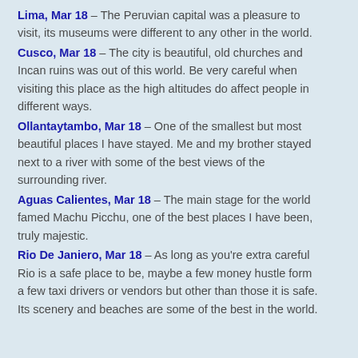Lima, Mar 18 – The Peruvian capital was a pleasure to visit, its museums were different to any other in the world.
Cusco, Mar 18 – The city is beautiful, old churches and Incan ruins was out of this world. Be very careful when visiting this place as the high altitudes do affect people in different ways.
Ollantaytambo, Mar 18 – One of the smallest but most beautiful places I have stayed. Me and my brother stayed next to a river with some of the best views of the surrounding river.
Aguas Calientes, Mar 18 – The main stage for the world famed Machu Picchu, one of the best places I have been, truly majestic.
Rio De Janiero, Mar 18 – As long as you're extra careful Rio is a safe place to be, maybe a few money hustle form a few taxi drivers or vendors but other than those it is safe. Its scenery and beaches are some of the best in the world.